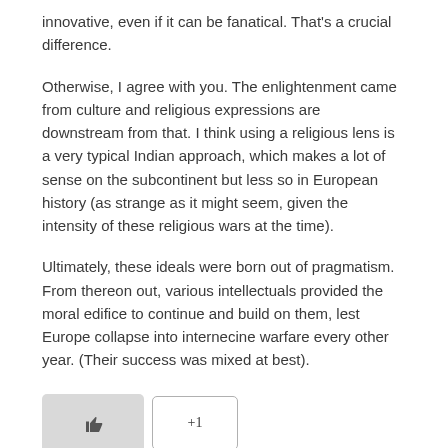innovative, even if it can be fanatical. That's a crucial difference.
Otherwise, I agree with you. The enlightenment came from culture and religious expressions are downstream from that. I think using a religious lens is a very typical Indian approach, which makes a lot of sense on the subcontinent but less so in European history (as strange as it might seem, given the intensity of these religious wars at the time).
Ultimately, these ideals were born out of pragmatism. From thereon out, various intellectuals provided the moral edifice to continue and build on them, lest Europe collapse into internecine warfare every other year. (Their success was mixed at best).
[Figure (other): Like (thumbs up) button with +1 vote button beside it]